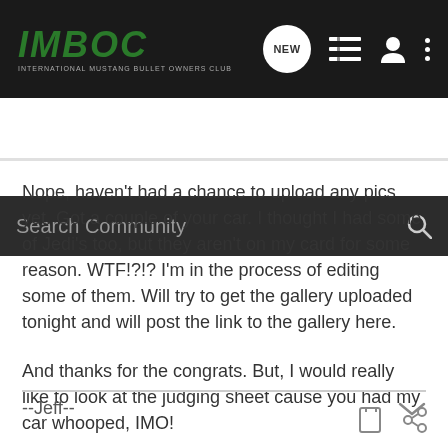IMBOC INTERNATIONAL MUSTANG BULLET OWNERS CLUB
Search Community
Nope, haven't had a chance to upload any pics yet. Got a couple of your car. I thought I had some of Jedi's too, but they aren't on my card for some reason. WTF!?!? I'm in the process of editing some of them. Will try to get the gallery uploaded tonight and will post the link to the gallery here.

And thanks for the congrats. But, I would really like to look at the judging sheet cause you had my car whooped, IMO!
--Jeff--